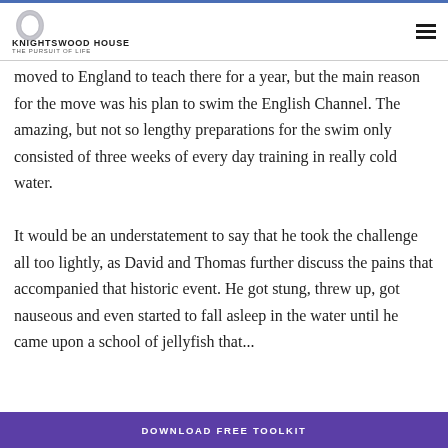KNIGHTSWOOD HOUSE
THE PURSUIT OF LIFE
Having survived a personal crisis in his life and as he'd always been a good swimmer and good with cold water, he moved to England to teach there for a year, but the main reason for the move was his plan to swim the English Channel. The amazing, but not so lengthy preparations for the swim only consisted of three weeks of every day training in really cold water.

It would be an understatement to say that he took the challenge all too lightly, as David and Thomas further discuss the pains that accompanied that historic event. He got stung, threw up, got nauseous and even started to fall asleep in the water until he came upon a school of jellyfish that...
DOWNLOAD FREE TOOLKIT